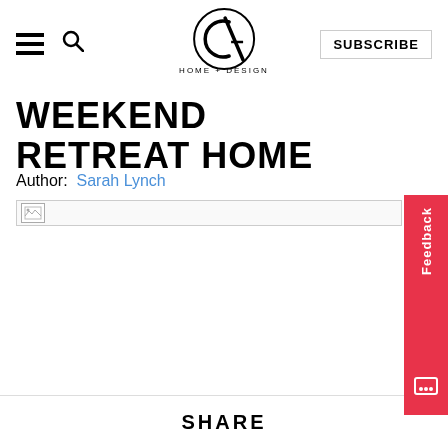CA HOME + DESIGN | SUBSCRIBE
WEEKEND RETREAT HOME
Author: Sarah Lynch
[Figure (photo): Broken image placeholder at top of article]
SHARE